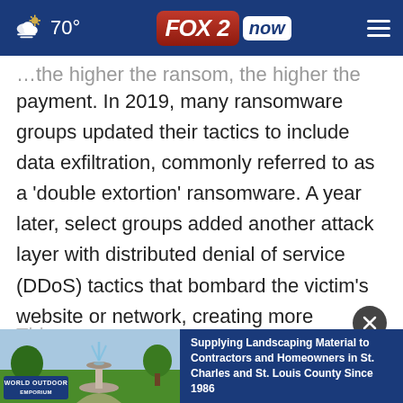70° FOX 2 now
…the higher the ransom, the higher the payment. In 2019, many ransomware groups updated their tactics to include data exfiltration, commonly referred to as a ‘double extortion’ ransomware. A year later, select groups added another attack layer with distributed denial of service (DDoS) tactics that bombard the victim’s website or network, creating more business disruption, thus pressuring the victim to negotiate.
This y…
[Figure (screenshot): World Outdoor Emporium advertisement banner: image of fountain and landscaping on left, blue background with text 'Supplying Landscaping Material to Contractors and Homeowners in St. Charles and St. Louis County Since 1986' on right]